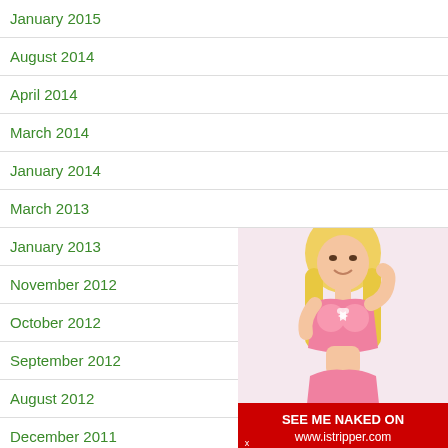January 2015
August 2014
April 2014
March 2014
January 2014
March 2013
January 2013
November 2012
October 2012
September 2012
August 2012
December 2011
July 2011
[Figure (photo): Blonde woman in pink lingerie with advertisement banner: SEE ME NAKED ON www.istripper.com]